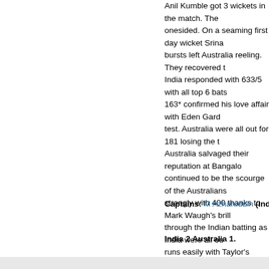Anil Kumble got 3 wickets in the match. The onesided. On a seaming first day wicket Srina bursts left Australia reeling. They recovered t India responded with 633/5 with all top 6 bats 163* confirmed his love affair with Eden Gard test. Australia were all out for 181 losing the t Australia salvaged their reputation at Bangalo continued to be the scourge of the Australians strongly with 400 thanks to Mark Waugh's bril through the Indian batting as India were all ou runs easily with Taylor's century being his onl While Tendulkar was undoubtedly the star of t contributions from the others, especially Sidhu the other spinners with great effect. Kumble e series.
Captains: M Azharuddin (Ind), MA Taylor (A
India 2 Australia 1.
Site Map | RSS feeds | Link to us | Help & feedback | Conta
© Cricinfo 2009   Cricinfo is part of ESPN   ESPN - Soccernet - Scrum - F1-live - S